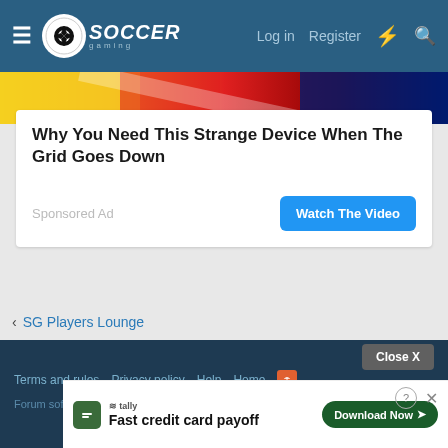Soccer Gaming — Log in  Register
[Figure (screenshot): Colorful ad banner strip with yellow, red, blue gradient colors at top]
Why You Need This Strange Device When The Grid Goes Down
Sponsored Ad
[Figure (screenshot): Watch The Video button (blue rounded rectangle)]
SG Players Lounge
Terms and rules  Privacy policy  Help  Home  Close X  Forum software  Fast credit card payoff  Download Now